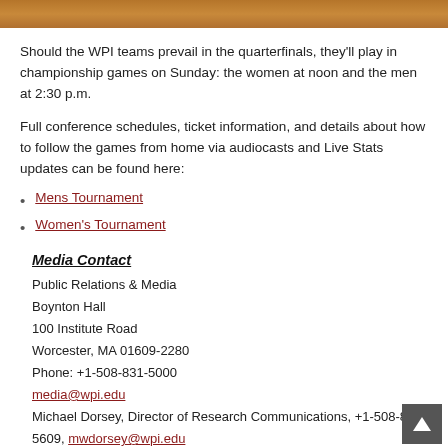[Figure (photo): Brown/orange warm-toned photo strip at top of page (basketball court or gymnasium)]
Should the WPI teams prevail in the quarterfinals, they'll play in championship games on Sunday: the women at noon and the men at 2:30 p.m.
Full conference schedules, ticket information, and details about how to follow the games from home via audiocasts and Live Stats updates can be found here:
Mens Tournament
Women's Tournament
Media Contact
Public Relations & Media
Boynton Hall
100 Institute Road
Worcester, MA 01609-2280
Phone: +1-508-831-5000
media@wpi.edu
Michael Dorsey, Director of Research Communications, +1-508-831-5609, mwdorsey@wpi.edu
Eileen Brangan Mell, Director of Public Relations, +1-508-831-